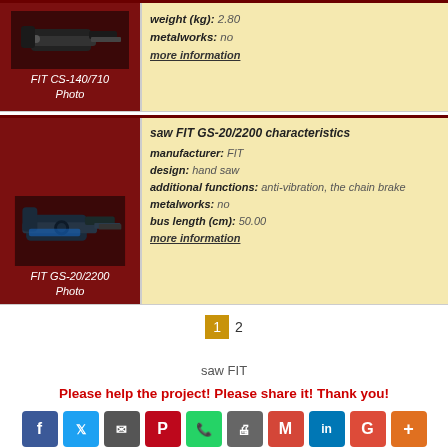[Figure (photo): FIT CS-140/710 chainsaw photo in dark red frame]
FIT CS-140/710
Photo
weight (kg): 2.80
metalworks: no
more information
[Figure (photo): FIT GS-20/2200 chainsaw photo in dark red frame]
FIT GS-20/2200
Photo
saw FIT GS-20/2200 characteristics
manufacturer: FIT
design: hand saw
additional functions: anti-vibration, the chain brake
metalworks: no
bus length (cm): 50.00
more information
1  2
saw FIT
Please help the project! Please share it! Thank you!
LINK: https://chudovo.org/en/garden_saws/manufacture  COPY